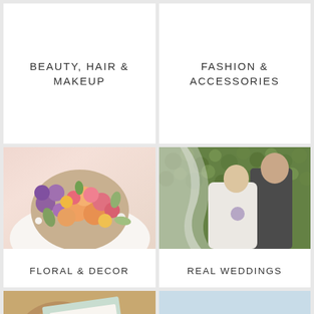[Figure (other): Text tile with category label: BEAUTY, HAIR & MAKEUP on white background]
[Figure (other): Text tile with category label: FASHION & ACCESSORIES on white background]
[Figure (photo): Bride holding colorful floral bouquet with pink, coral, orange, and purple flowers. Label: FLORAL & DECOR]
[Figure (photo): Bride and groom kissing in front of green ivy wall with veil blowing in wind. Label: REAL WEDDINGS]
[Figure (photo): Wedding stationery and invitation suite on wood slice background]
[Figure (photo): Couple standing at the beach shore looking at ocean waves]